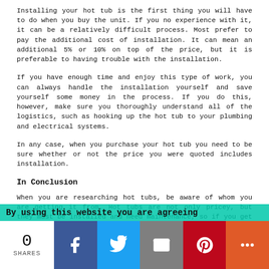Installing your hot tub is the first thing you will have to do when you buy the unit. If you no experience with it, it can be a relatively difficult process. Most prefer to pay the additional cost of installation. It can mean an additional 5% or 10% on top of the price, but it is preferable to having trouble with the installation.
If you have enough time and enjoy this type of work, you can always handle the installation yourself and save yourself some money in the process. If you do this, however, make sure you thoroughly understand all of the logistics, such as hooking up the hot tub to your plumbing and electrical systems.
In any case, when you purchase your hot tub you need to be sure whether or not the price you were quoted includes installation.
In Conclusion
When you are researching hot tubs, be aware of whom you are getting it from. Hot tubs are not only pricey, but they must be installed and need maintenance, so if you get one from the wrong company, you will soon regret it when you
By using this website you are agreeing
0
SHARES